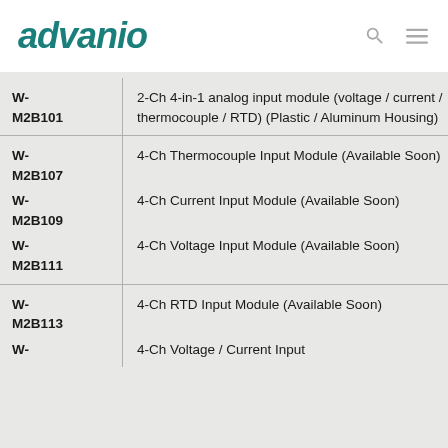advanio
| Model | Description |
| --- | --- |
| W-M2B101 | 2-Ch 4-in-1 analog input module (voltage / current / thermocouple / RTD) (Plastic / Aluminum Housing) |
| W-M2B107
W-M2B109
W-M2B111 | 4-Ch Thermocouple Input Module (Available Soon)
4-Ch Current Input Module (Available Soon)
4-Ch Voltage Input Module (Available Soon) |
| W-M2B113
W- | 4-Ch RTD Input Module (Available Soon)
4-Ch Voltage / Current Input |